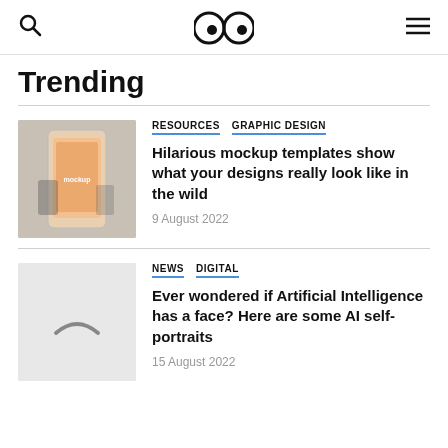🔍 👀 ☰
Trending
RESOURCES  GRAPHIC DESIGN
Hilarious mockup templates show what your designs really look like in the wild
9 August 2022
NEWS  DIGITAL
Ever wondered if Artificial Intelligence has a face? Here are some AI self-portraits
15 August 2022